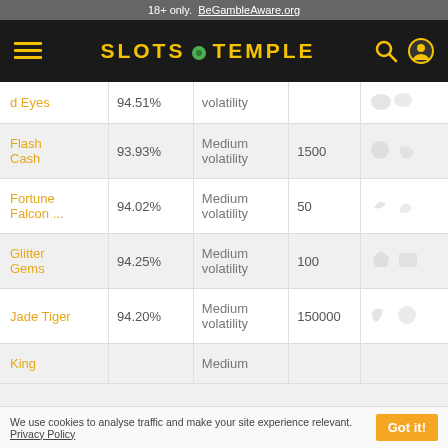18+ only. BeGambleAware.org
[Figure (logo): Slots Temple navigation bar with hamburger menu, logo, search and account icons]
| Game | RTP | Volatility | Max Win | Tags |
| --- | --- | --- | --- | --- |
| d Eyes | 94.51% | volatility |  |  |
| Flash Cash | 93.93% | Medium volatility | 1500 |  |
| Fortune Falcon ... | 94.02% | Medium volatility | 50 |  |
| Glitter Gems | 94.25% | Medium volatility | 100 |  |
| Jade Tiger | 94.20% | Medium volatility | 150000 |  |
| King |  | Medium volatility |  |  |
We use cookies to analyse traffic and make your site experience relevant. Privacy Policy  Got it!